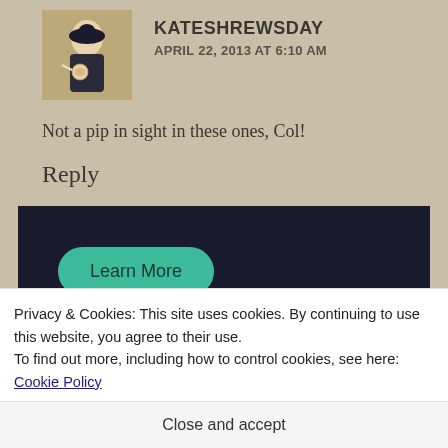KATESHREWSDAY
APRIL 22, 2013 AT 6:10 AM
Not a pip in sight in these ones, Col!
Reply
[Figure (screenshot): Dark banner ad with a teal 'Learn More' rounded button]
Privacy & Cookies: This site uses cookies. By continuing to use this website, you agree to their use.
To find out more, including how to control cookies, see here: Cookie Policy
Close and accept